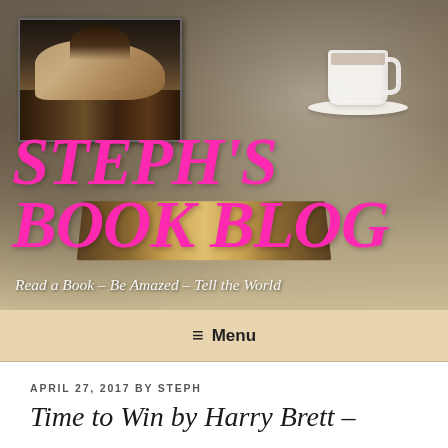[Figure (photo): Header banner with blurred background showing books on wooden surface, coffee cup on saucer, warm bokeh tones]
[Figure (photo): Small thumbnail image of a person (woman with glasses) sleeping on a pile of books]
STEPH'S BOOK BLOG
Read a Book – Be Amazed – Tell the World
≡ Menu
APRIL 27, 2017 BY STEPH
Time to Win by Harry Brett –